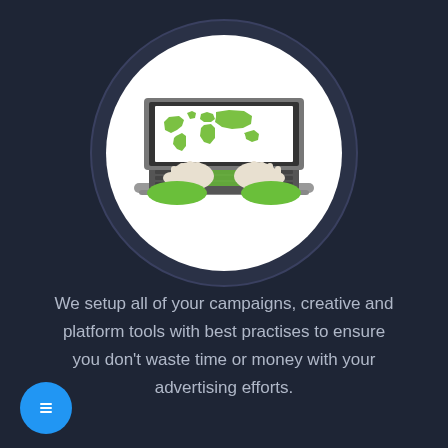[Figure (illustration): Circular illustration with dark ring border on a dark navy background. Inside the white circle: a laptop computer with a world map displayed on screen (green continents on white), and two hands typing on the keyboard. Green desk pads visible at bottom corners.]
We setup all of your campaigns, creative and platform tools with best practises to ensure you don't waste time or money with your advertising efforts.